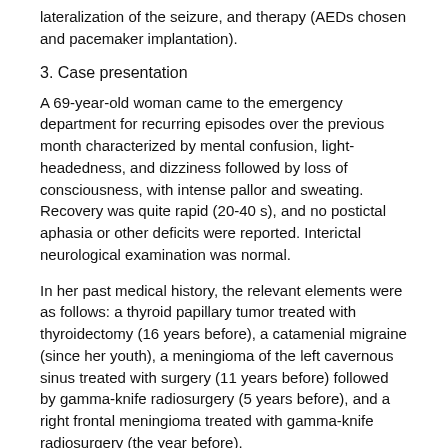lateralization of the seizure, and therapy (AEDs chosen and pacemaker implantation).
3. Case presentation
A 69-year-old woman came to the emergency department for recurring episodes over the previous month characterized by mental confusion, light-headedness, and dizziness followed by loss of consciousness, with intense pallor and sweating. Recovery was quite rapid (20-40 s), and no postictal aphasia or other deficits were reported. Interictal neurological examination was normal.
In her past medical history, the relevant elements were as follows: a thyroid papillary tumor treated with thyroidectomy (16 years before), a catamenial migraine (since her youth), a meningioma of the left cavernous sinus treated with surgery (11 years before) followed by gamma-knife radiosurgery (5 years before), and a right frontal meningioma treated with gamma-knife radiosurgery (the year before).
The carotid sinus massage and the tilt-table test were both negative for vasovagal syncope and orthostatic